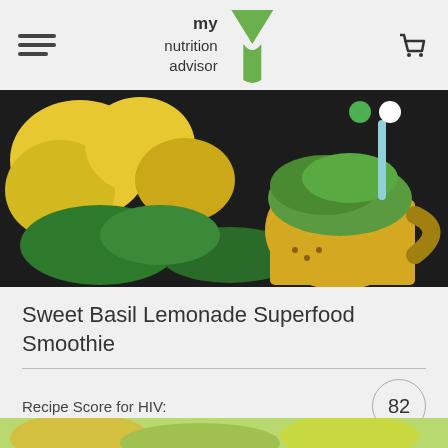my nutrition advisor
[Figure (photo): A green smoothie in a yellow bee-themed mug with lemons and spinach leaves in the background on a dark surface. Two navigation dots (green and white) overlay the top-right of the image.]
Sweet Basil Lemonade Superfood Smoothie
Recipe Score for HIV: 82
[Figure (other): Average Rating image placeholder followed by 'My Nutrition Advisor' text]
[Figure (photo): Bottom peek of another food image]